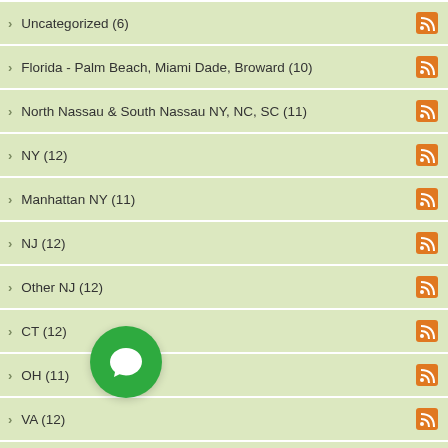Uncategorized (6)
Florida - Palm Beach, Miami Dade, Broward (10)
North Nassau & South Nassau NY, NC, SC (11)
NY (12)
Manhattan NY (11)
NJ (12)
Other NJ (12)
CT (12)
OH (11)
VA (12)
North Nassau & South Nassau NY Only (11)
Toms River NJ (10)
GA (8)
(partially obscured)
Pinellas, Hillsborough (6)
(partially visible)